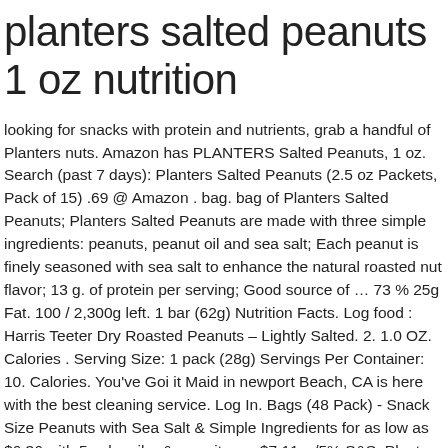planters salted peanuts 1 oz nutrition
looking for snacks with protein and nutrients, grab a handful of Planters nuts. Amazon has PLANTERS Salted Peanuts, 1 oz. Search (past 7 days): Planters Salted Peanuts (2.5 oz Packets, Pack of 15) .69 @ Amazon . bag. bag of Planters Salted Peanuts; Planters Salted Peanuts are made with three simple ingredients: peanuts, peanut oil and sea salt; Each peanut is finely seasoned with sea salt to enhance the natural roasted nut flavor; 13 g. of protein per serving; Good source of … 73 % 25g Fat. 100 / 2,300g left. 1 bar (62g) Nutrition Facts. Log food : Harris Teeter Dry Roasted Peanuts – Lightly Salted. 2. 1.0 OZ. Calories . Serving Size: 1 pack (28g) Servings Per Container: 10. Calories. You've Goi it Maid in newport Beach, CA is here with the best cleaning service. Log In. Bags (48 Pack) - Snack Size Peanuts with Sea Salt & Simple Ingredients for as low as $6.36 with 5 subscribe & save items, $7.11 w/5% S&S. Planters Nuts offer plenty of heart healthy snacks. These perfectly roasted peanuts have 7 grams of protein and are a good source of vitamin E. Free of cholesterol and trans-fat, Planter's Peanuts have 14 grams of fat per serving and are the perfect on-the-go salty